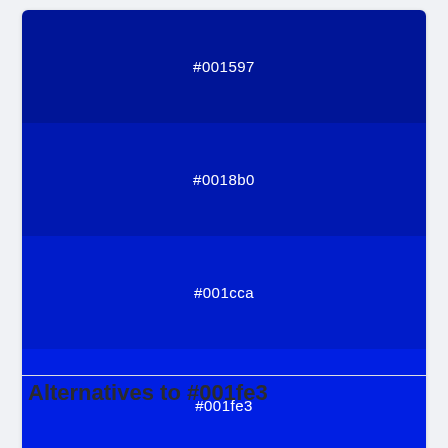[Figure (infographic): Monochromatic color swatches showing 7 shades of blue from dark (#001597) to lighter (#314dff), each swatch labeled with its hex code in white text]
Monochromatic Color
Alternatives to #001fe3